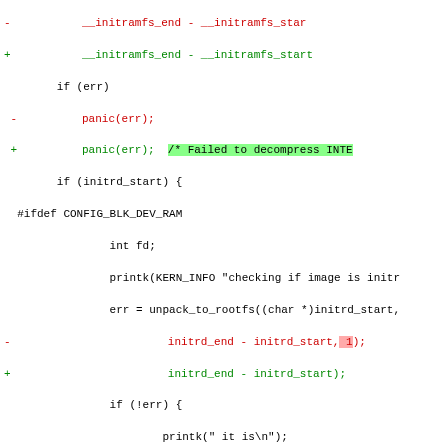[Figure (screenshot): Diff/patch view of Linux kernel source code showing added and removed lines in a C source file related to initramfs/initrd handling. Red lines are removals, green lines are additions, with highlighted spans showing specific changed tokens.]